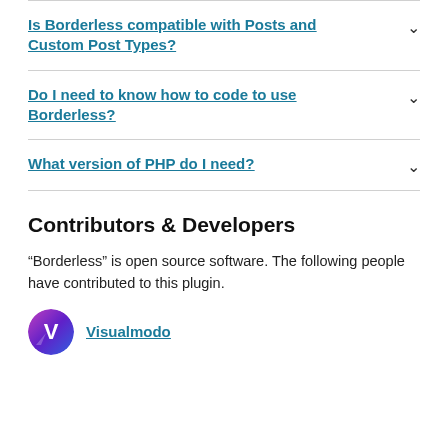Is Borderless compatible with Posts and Custom Post Types?
Do I need to know how to code to use Borderless?
What version of PHP do I need?
Contributors & Developers
“Borderless” is open source software. The following people have contributed to this plugin.
Visualmodo